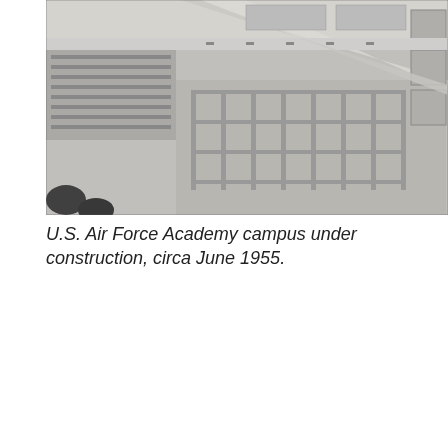[Figure (photo): Aerial black and white photograph of the U.S. Air Force Academy campus under construction, circa June 1955. Shows parking lots, roads, and building foundations from above.]
U.S. Air Force Academy campus under construction, circa June 1955.